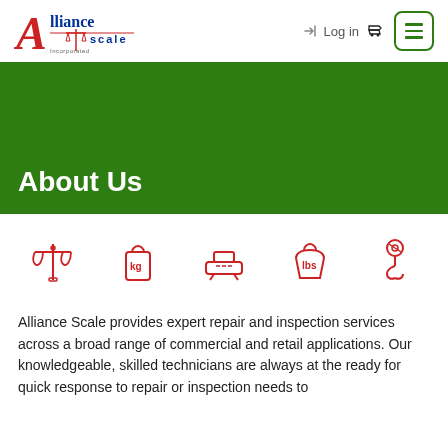[Figure (logo): Alliance Scale Incorporated logo with red A and blue text]
Log in
[Figure (illustration): Five red outline icons: balance scale, kg weight, platform scale, lbs weight, crane hook]
About Us
Alliance Scale provides expert repair and inspection services across a broad range of commercial and retail applications. Our knowledgeable, skilled technicians are always at the ready for quick response to repair or inspection needs to